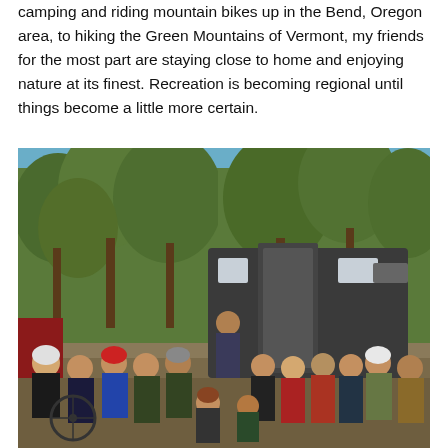camping and riding mountain bikes up in the Bend, Oregon area, to hiking the Green Mountains of Vermont, my friends for the most part are staying close to home and enjoying nature at its finest. Recreation is becoming regional until things become a little more certain.
[Figure (photo): Group of mountain bikers and outdoor enthusiasts posing in front of a large dark van/RV, surrounded by pine trees under a blue sky. People are wearing helmets, jackets, and outdoor gear.]